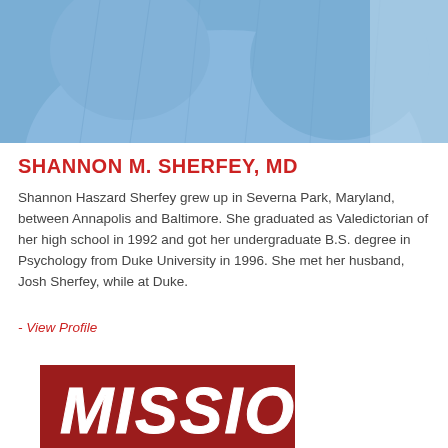[Figure (photo): Close-up photo of a person wearing a light blue athletic/compression shirt, cropped to show torso and shoulder area]
SHANNON M. SHERFEY, MD
Shannon Haszard Sherfey grew up in Severna Park, Maryland, between Annapolis and Baltimore. She graduated as Valedictorian of her high school in 1992 and got her undergraduate B.S. degree in Psychology from Duke University in 1996. She met her husband, Josh Sherfey, while at Duke.
- View Profile
[Figure (logo): Red rectangle with white painted/brush-style text reading MISSION]